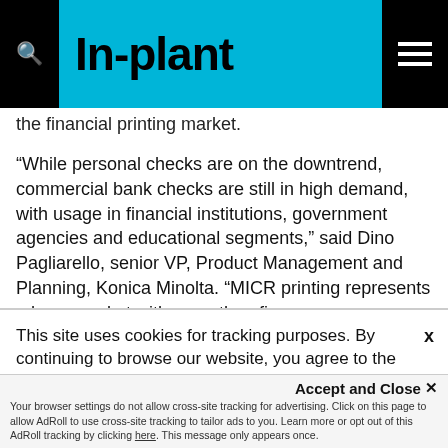In-plant
the financial printing market.
“While personal checks are on the downtrend, commercial bank checks are still in high demand, with usage in financial institutions, government agencies and educational segments,” said Dino Pagliarello, senior VP, Product Management and Planning, Konica Minolta. “MICR printing represents a huge market with more than five
This site uses cookies for tracking purposes. By continuing to browse our website, you agree to the storing of first- and third-party cookies on your device to enhance site navigation, analyze site
usage, and assist in our marketing and
Accept and Close ×
Your browser settings do not allow cross-site tracking for advertising. Click on this page to allow AdRoll to use cross-site tracking to tailor ads to you. Learn more or opt out of this AdRoll tracking by clicking here. This message only appears once.